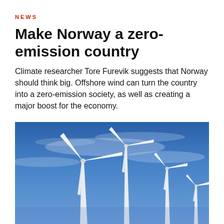NEWS
Make Norway a zero-emission country
Climate researcher Tore Furevik suggests that Norway should think big. Offshore wind can turn the country into a zero-emission society, as well as creating a major boost for the economy.
[Figure (photo): Three white wind turbines against a blue sky with light clouds, photographed from below at an angle.]